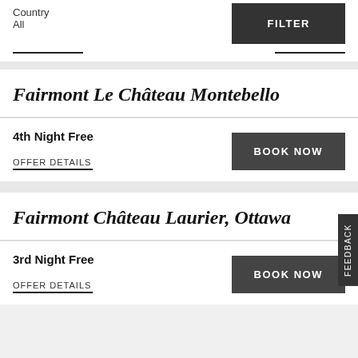Country
All
FILTER
Fairmont Le Château Montebello
4th Night Free
OFFER DETAILS
BOOK NOW
Fairmont Château Laurier, Ottawa
3rd Night Free
OFFER DETAILS
BOOK NOW
FEEDBACK